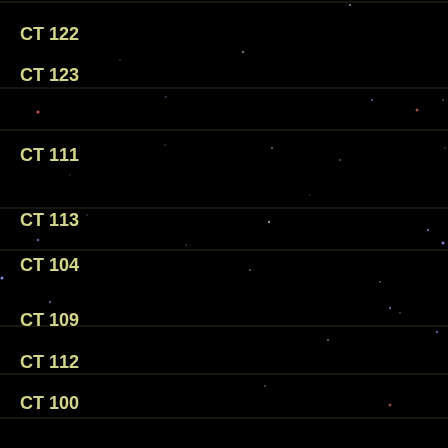[Figure (photo): Astronomical star field image showing rows of CT catalog objects labeled CT 122, CT 123, CT 111, CT 113, CT 104, CT 109, CT 112, CT 100, CT 103, CT 101, CT 97 against a black background with scattered stars and dividing lines between rows.]
CT 122
CT 123
CT 111
CT 113
CT 104
CT 109
CT 112
CT 100
CT 103
CT 101
CT 97